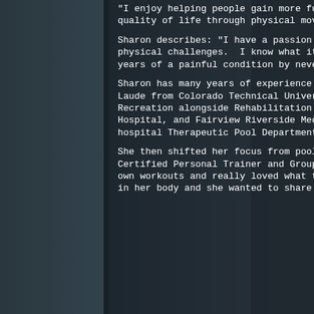“I enjoy helping people gain more fun and satisfaction in their lives by improving their quality of life through physical movement.”
Sharon describes: “I have a passion for helping people that stems from overcoming my own physical challenges.  I know what it is like to lose 70 pounds. And, I’ve recovered from years of a painful condition by never giving up.”
Sharon has many years of experience in a variety of modalities.  She graduated Summa Cum Laude from Colorado Technical University with a BSBA-MKT. She began her career in Recreation alongside Rehabilitation Programs at Courage Center, Gillette Children’s Hospital, and Fairview Riverside Medical Center. Additionally, she led the high-demand hospital Therapeutic Pool Department at Metropolitan Medical Center.
She then shifted her focus from pool-based work to non-pool based focus and became a Certified Personal Trainer and Group Exercise Instructor.  She began to do Pilates for her own workouts and really loved what that brought to her, it was the missing piece she needed in her body and she wanted to share it with others so